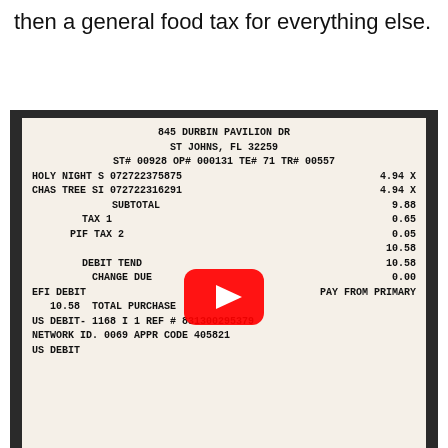then a general food tax for everything else.
[Figure (photo): A photo of a Walmart receipt showing items purchased at 845 Durbin Pavilion Dr, St Johns, FL 32259, with a YouTube play button overlay covering part of the receipt. The receipt shows Holy Night S and Chas Tree SI items, subtotal 9.88, Tax 1 0.65, PIF Tax 2 0.05, total 10.58, paid by EFI Debit.]
Asked By: Harold Gonzales Date: created: Sep 12 2021
What are the tax codes on Walmart Receipt
Answered By: Angel Stewart Date: created: Sep 13 2021